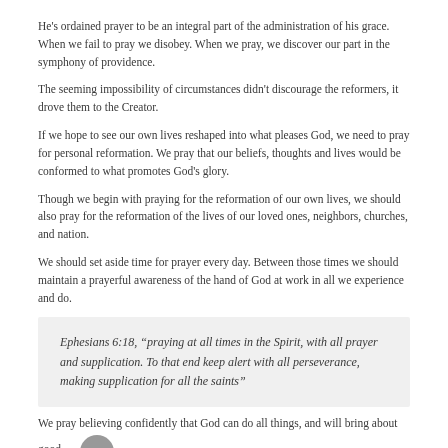He's ordained prayer to be an integral part of the administration of his grace. When we fail to pray we disobey. When we pray, we discover our part in the symphony of providence.
The seeming impossibility of circumstances didn't discourage the reformers, it drove them to the Creator.
If we hope to see our own lives reshaped into what pleases God, we need to pray for personal reformation. We pray that our beliefs, thoughts and lives would be conformed to what promotes God's glory.
Though we begin with praying for the reformation of our own lives, we should also pray for the reformation of the lives of our loved ones, neighbors, churches, and nation.
We should set aside time for prayer every day. Between those times we should maintain a prayerful awareness of the hand of God at work in all we experience and do.
Ephesians 6:18, “praying at all times in the Spirit, with all prayer and supplication. To that end keep alert with all perseverance, making supplication for all the saints”
We pray believing confidently that God can do all things, and will bring about good — in his good time.